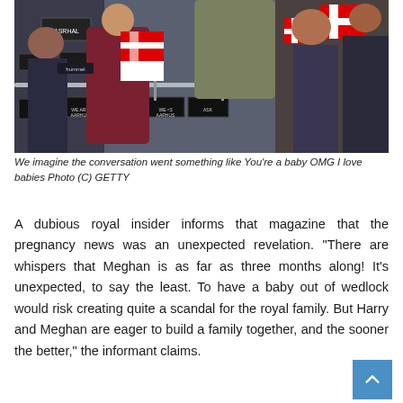[Figure (photo): A crowd scene showing a man in a gray-brown suit leaning over a metal barrier to interact with a woman holding a baby wrapped in a Danish flag. Surrounding crowd holds small Danish flags, people wearing winter clothes.]
We imagine the conversation went something like You're a baby OMG I love babies Photo (C) GETTY
A dubious royal insider informs that magazine that the pregnancy news was an unexpected revelation. “There are whispers that Meghan is as far as three months along! It’s unexpected, to say the least. To have a baby out of wedlock would risk creating quite a scandal for the royal family. But Harry and Meghan are eager to build a family together, and the sooner the better,” the informant claims.